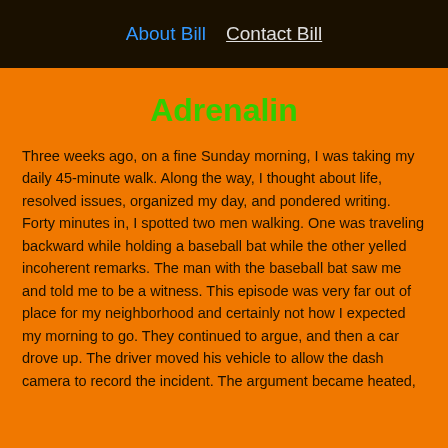About Bill  Contact Bill
Adrenalin
Three weeks ago, on a fine Sunday morning, I was taking my daily 45-minute walk. Along the way, I thought about life, resolved issues, organized my day, and pondered writing. Forty minutes in, I spotted two men walking. One was traveling backward while holding a baseball bat while the other yelled incoherent remarks. The man with the baseball bat saw me and told me to be a witness. This episode was very far out of place for my neighborhood and certainly not how I expected my morning to go. They continued to argue, and then a car drove up. The driver moved his vehicle to allow the dash camera to record the incident. The argument became heated,